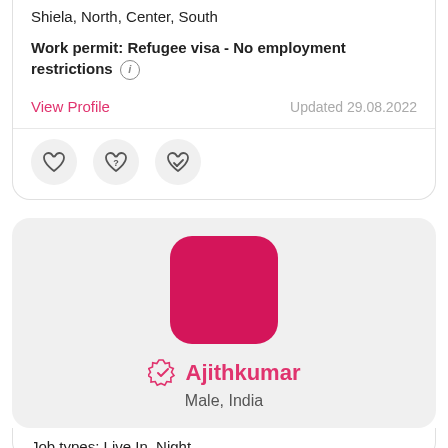Shiela, North, Center, South
Work permit: Refugee visa - No employment restrictions
View Profile
Updated 29.08.2022
[Figure (illustration): Three circular icon buttons: heart (favorite), heart with question mark, heart with checkmark/edit]
[Figure (illustration): Pink/magenta square avatar placeholder with rounded corners]
Ajithkumar
Male, India
Job types: Live In, Night